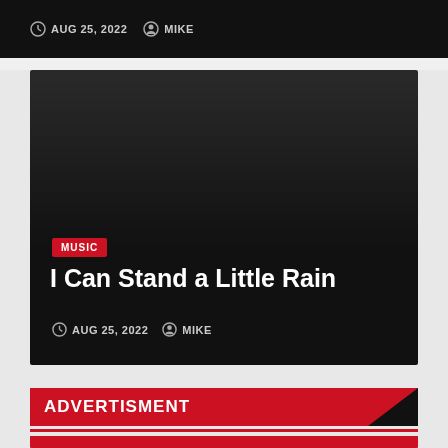AUG 25, 2022  MIKE
[Figure (screenshot): Dark card with MUSIC tag, article title 'I Can Stand a Little Rain', date AUG 25, 2022, author MIKE]
MUSIC
I Can Stand a Little Rain
AUG 25, 2022  MIKE
ADVERTISMENT